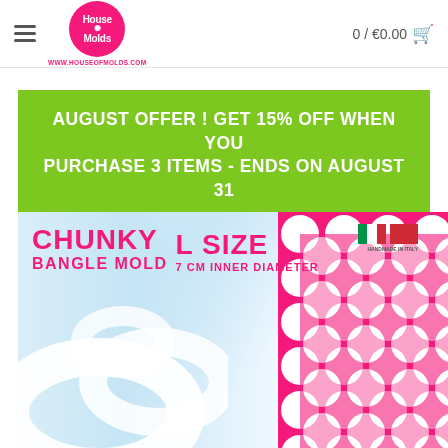[Figure (logo): House of Molds circular pink logo with URL www.houseofmolds.com below]
0 / €0.00 🛒
AUGUST OFFER ! GET 15% OFF WHEN YOU PURCHASE 3 ITEMS - ENDS ON AUGUST 31
[Figure (photo): Chunky Bangle Mold L Size 7 CM Inner Diameter - white bangle molds shown against a pink and white polka dot background. Italian/handmade in Italy flags shown. Product text in hot pink.]